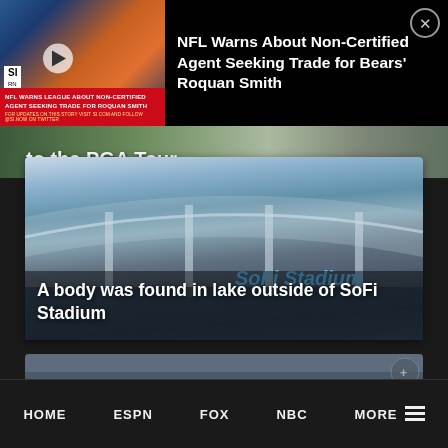[Figure (screenshot): Sports news notification overlay showing NFL news about Roquan Smith with Sports Illustrated banner and close button]
NFL Warns About Non-Certified Agent Seeking Trade for Bears' Roquan Smith
[Figure (photo): PGA Tour related image strip with partial text 'to the PGA Tour']
[Figure (photo): SoFi Stadium exterior photo showing the curved roof structure and SoFi Stadium sign with water in foreground]
A body was found in lake outside of SoFi Stadium
[Figure (photo): Partial bottom image strip showing crowd/sports scene]
HOME   ESPN   FOX   NBC   MORE